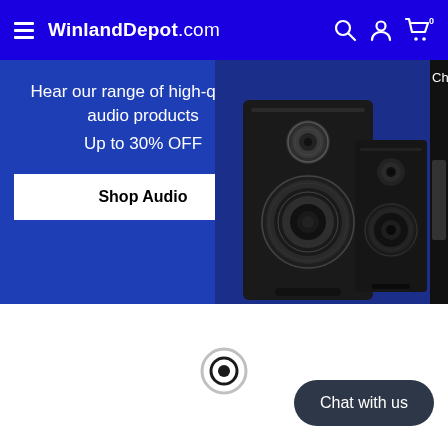WinlandDepot.com
[Figure (photo): Hero banner with audio speakers on a blue background. Text reads: 'Hear our range of high-quality audio products', 'Up to 30% OFF', and a 'Shop Audio' button. Partially visible second slide on the right.]
[Figure (other): Carousel radio button indicator (circular selector dot)]
Chat with us